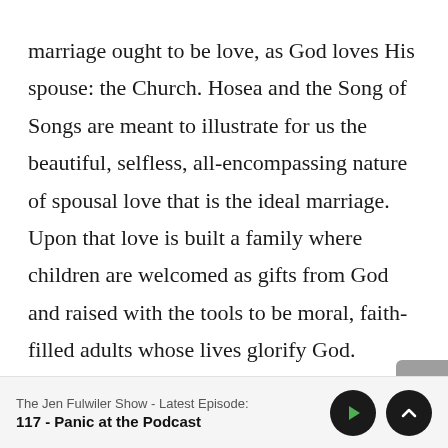marriage ought to be love, as God loves His spouse: the Church. Hosea and the Song of Songs are meant to illustrate for us the beautiful, selfless, all-encompassing nature of spousal love that is the ideal marriage. Upon that love is built a family where children are welcomed as gifts from God and raised with the tools to be moral, faith-filled adults whose lives glorify God.

In that light, it's entirely inappropriate for a person with homosexual tendencies to
The Jen Fulwiler Show - Latest Episode:
117 - Panic at the Podcast